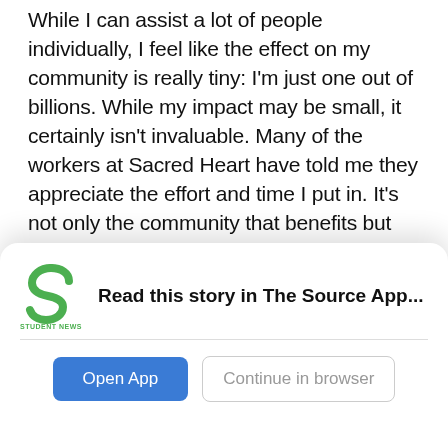While I can assist a lot of people individually, I feel like the effect on my community is really tiny: I'm just one out of billions. While my impact may be small, it certainly isn't invaluable. Many of the workers at Sacred Heart have told me they appreciate the effort and time I put in. It's not only the community that benefits but also the appreciation and love that comes back. One day of school, which I had off for a holiday, I ended up doing ten hours of community service straight at Sacred Heart. Now, because I have basketball practice every day after school, I don't have the free time I
[Figure (logo): Student News Source logo — green S-shaped figure mark with 'STUDENT NEWS SOURCE' text below]
Read this story in The Source App...
Open App
Continue in browser